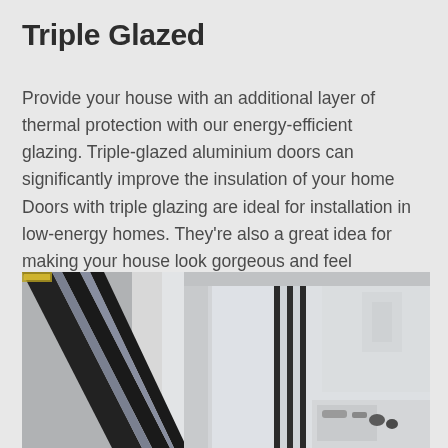Triple Glazed
Provide your house with an additional layer of thermal protection with our energy-efficient glazing. Triple-glazed aluminium doors can significantly improve the insulation of your home Doors with triple glazing are ideal for installation in low-energy homes. They're also a great idea for making your house look gorgeous and feel comfortable.
[Figure (photo): Close-up photograph of a triple glazed window cross-section showing multiple panes of glass in a dark aluminium frame with white window hardware visible]